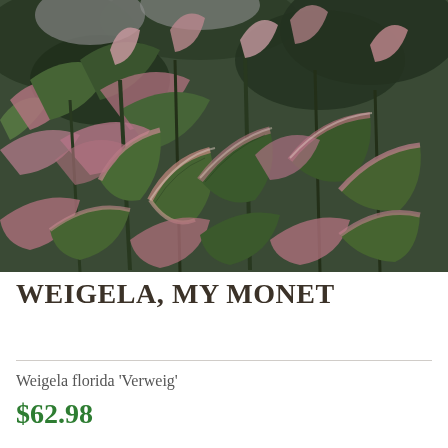[Figure (photo): Close-up photograph of Weigela 'My Monet' plant showing variegated leaves with green centers and pink-cream margins, dense foliage against a garden background]
WEIGELA, MY MONET
Weigela florida 'Verweig'
$62.98